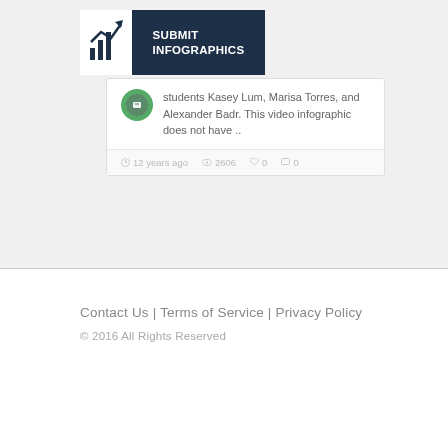[Figure (logo): Submit Infographics logo with white left panel containing bar/arrow chart icon and dark navy right panel with bold white text SUBMIT INFOGRAPHICS]
students Kasey Lum, Marisa Torres, and Alexander Badr. This video infographic does not have ..
12 years ago  2606  0  0
Contact Us | Terms of Service | Privacy Policy
© 2016 All Rights Reserved